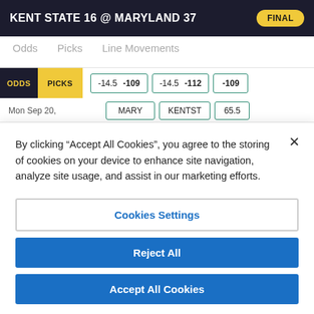KENT STATE 16 @ MARYLAND 37   FINAL
Odds   Picks   Line Movements
ODDS  PICKS  -14.5 -109  -14.5 -112  -109
Mon Sep 20,   MARY   KENTST   65.5
By clicking “Accept All Cookies”, you agree to the storing of cookies on your device to enhance site navigation, analyze site usage, and assist in our marketing efforts.
Cookies Settings
Reject All
Accept All Cookies